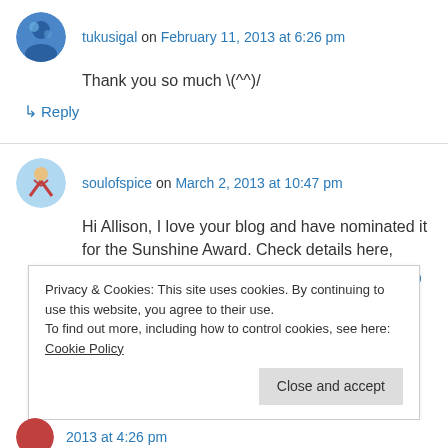tukusigal on February 11, 2013 at 6:26 pm
Thank you so much \(^^)/
↳ Reply
soulofspice on March 2, 2013 at 10:47 pm
Hi Allison, I love your blog and have nominated it for the Sunshine Award. Check details here,
http://soulofspice.wordpress.com/2013/03/03/ap
Privacy & Cookies: This site uses cookies. By continuing to use this website, you agree to their use.
To find out more, including how to control cookies, see here: Cookie Policy
Close and accept
2013 at 4:26 pm